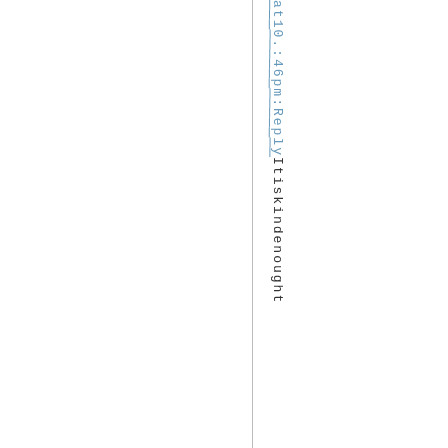at 10.:46pm :Reply It is kind enough